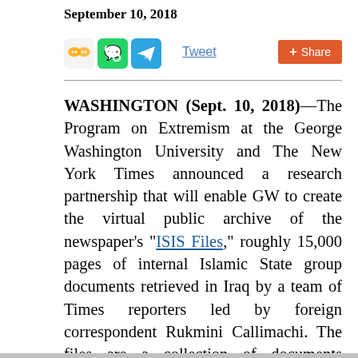September 10, 2018
[Figure (other): Social sharing icons (WeChat, WhatsApp, Telegram) and Tweet link and Share button]
WASHINGTON (Sept. 10, 2018)—The Program on Extremism at the George Washington University and The New York Times announced a research partnership that will enable GW to create the virtual public archive of the newspaper's "ISIS Files," roughly 15,000 pages of internal Islamic State group documents retrieved in Iraq by a team of Times reporters led by foreign correspondent Rukmini Callimachi. The files are a collection of documents including land deeds, tax receipts, military strategies and internal regulations, which reveal the inner workings of one of